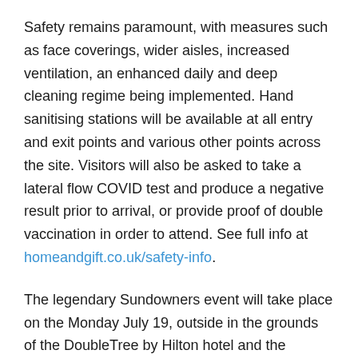Safety remains paramount, with measures such as face coverings, wider aisles, increased ventilation, an enhanced daily and deep cleaning regime being implemented. Hand sanitising stations will be available at all entry and exit points and various other points across the site. Visitors will also be asked to take a lateral flow COVID test and produce a negative result prior to arrival, or provide proof of double vaccination in order to attend. See full info at homeandgift.co.uk/safety-info.
The legendary Sundowners event will take place on the Monday July 19, outside in the grounds of the DoubleTree by Hilton hotel and the renowned exhibitor party will now take place on the evening of Tuesday July 20.
Home & Gift visitor registration is open and is currently tracking in line with previous years, with key names